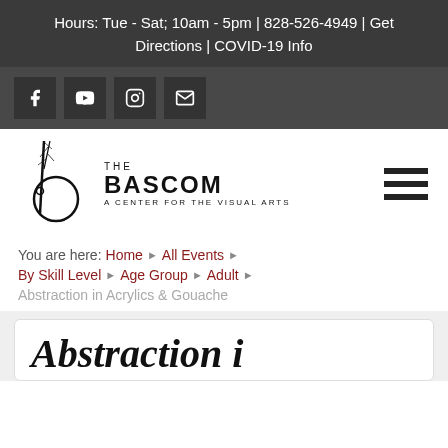Hours: Tue - Sat; 10am - 5pm | 828-526-4949 | Get Directions | COVID-19 Info
[Figure (logo): Social media icons: Facebook, YouTube, Instagram, Email in dark square buttons]
[Figure (logo): The Bascom - A Center for the Visual Arts logo with artistic 'b' and tree branches]
You are here:  Home  ›  All Events  ›  By Skill Level  ›  Age Group  ›  Adult  ›  Abstraction in Acrylics & Gouache
Abstraction in Acrylics & Gouache